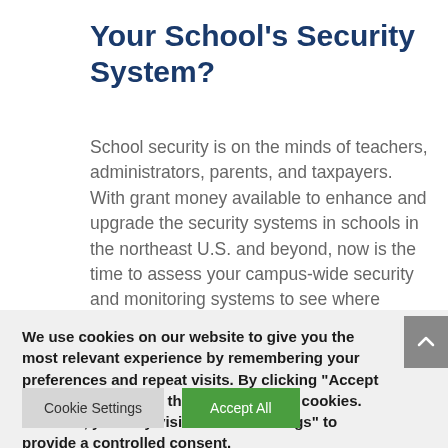Your School's Security System?
School security is on the minds of teachers, administrators, parents, and taxpayers. With grant money available to enhance and upgrade the security systems in schools in the northeast U.S. and beyond, now is the time to assess your campus-wide security and monitoring systems to see where today's
We use cookies on our website to give you the most relevant experience by remembering your preferences and repeat visits. By clicking "Accept All", you consent to the use of ALL the cookies. However, you may visit "Cookie Settings" to provide a controlled consent.